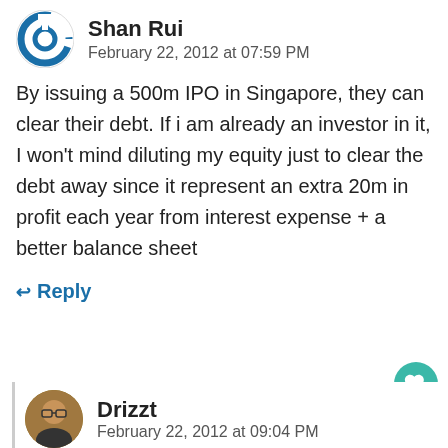[Figure (logo): Circular blue power/refresh icon avatar for user Shan Rui]
Shan Rui
February 22, 2012 at 07:59 PM
By issuing a 500m IPO in Singapore, they can clear their debt. If i am already an investor in it, I won't mind diluting my equity just to clear the debt away since it represent an extra 20m in profit each year from interest expense + a better balance sheet
↩ Reply
[Figure (photo): Round avatar photo of user Drizzt, a person wearing glasses]
Drizzt
February 22, 2012 at 09:04 PM